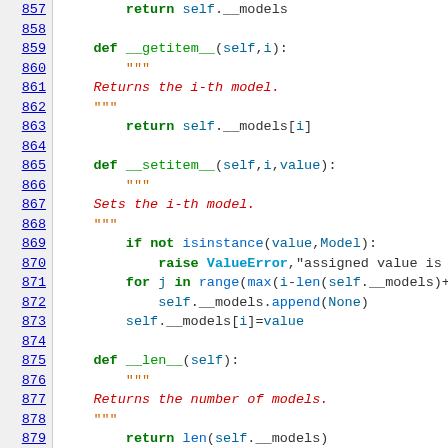Code listing showing Python class methods: __getitem__, __setitem__, __len__ with line numbers 857-879